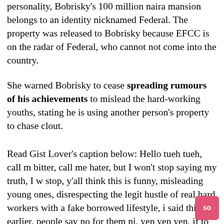personality, Bobrisky's 100 million naira mansion belongs to an identity nicknamed Federal. The property was released to Bobrisky because EFCC is on the radar of Federal, who cannot come into the country.
She warned Bobrisky to cease spreading rumours of his achievements to mislead the hard-working youths, stating he is using another person's property to chase clout.
Read Gist Lover's caption below: Hello tueh tueh, call me bitter, call me hater, but I won't stop saying my truth, I won't stop, y'all think this is funny, misleading young ones, disrespecting the legit hustle of real hard workers with a fake borrowed lifestyle, i said this earlier, people say no for them ni, yen yen yen, if to say the truth Na bitter, YES BITTER, if yeyebrity buy house and it's legit you no go carry my two left legs come Dey bring gist ontop, a lot of yeyebrities don buy house wey be say them work hard wey we know, we Dey happy for them but you see those on kurukere life or those ones wey Dey use another person's property chase clout, if una wan d.ie make una go d.ie